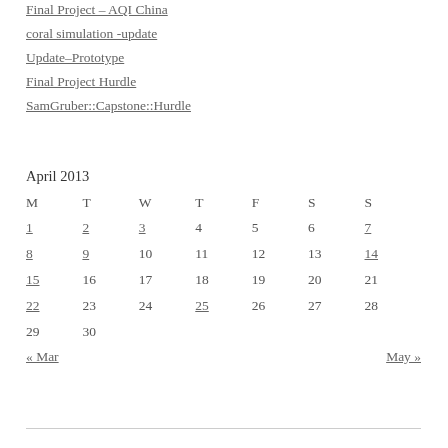Final Project – AQI China
coral simulation -update
Update–Prototype
Final Project Hurdle
SamGruber::Capstone::Hurdle
| M | T | W | T | F | S | S |
| --- | --- | --- | --- | --- | --- | --- |
| 1 | 2 | 3 | 4 | 5 | 6 | 7 |
| 8 | 9 | 10 | 11 | 12 | 13 | 14 |
| 15 | 16 | 17 | 18 | 19 | 20 | 21 |
| 22 | 23 | 24 | 25 | 26 | 27 | 28 |
| 29 | 30 |  |  |  |  |  |
« Mar    May »